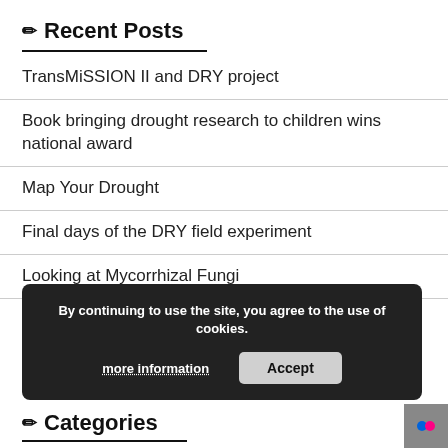✏ Recent Posts
TransMiSSION II and DRY project
Book bringing drought research to children wins national award
Map Your Drought
Final days of the DRY field experiment
Looking at Mycorrhizal Fungi
✏ Flickr
By continuing to use the site, you agree to the use of cookies.
more information    Accept
✏ Categories